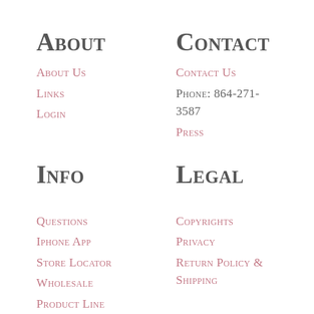About
About Us
Links
Login
Contact
Contact Us
Phone: 864-271-3587
Press
Info
Questions
Iphone App
Store Locator
Wholesale
Product Line
Wholesale
Customers
Legal
Copyrights
Privacy
Return Policy & Shipping